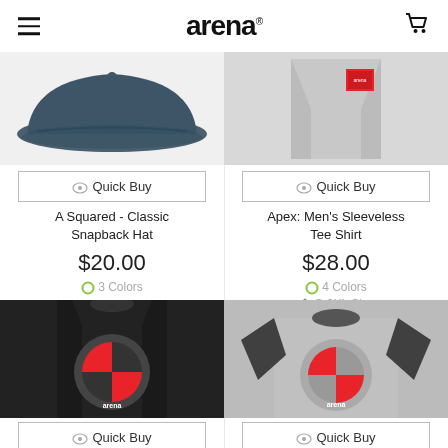arena
[Figure (photo): A Squared Classic Snapback Hat product image - dark blue/navy hat viewed from above]
Quick Buy
A Squared - Classic Snapback Hat
$20.00
3 Colors
[Figure (photo): Apex Men's Sleeveless Tee Shirt product image - grey shirt with red Arena logo]
Quick Buy
Apex: Men's Sleeveless Tee Shirt
$28.00
4 Colors
S-2XL Size
[Figure (photo): Black tank top with red circular Arena logo graphic]
Quick Buy
[Figure (photo): Grey and dark raglan 3/4 sleeve shirt with red circular Arena logo graphic]
Quick Buy